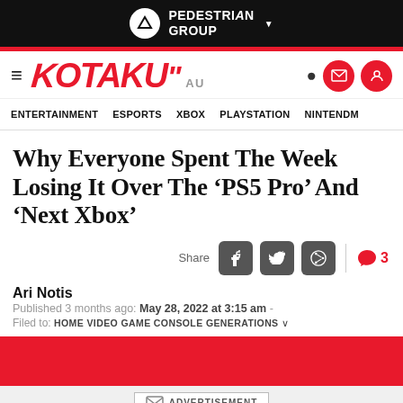PEDESTRIAN GROUP
[Figure (screenshot): Kotaku AU website header with logo, navigation icons, nav menu items: ENTERTAINMENT, ESPORTS, XBOX, PLAYSTATION, NINTENDO]
Why Everyone Spent The Week Losing It Over The ‘PS5 Pro’ And ‘Next Xbox’
Share [Facebook] [Twitter] [Reddit] | 3 comments
Ari Notis
Published 3 months ago: May 28, 2022 at 3:15 am - Filed to: HOME VIDEO GAME CONSOLE GENERATIONS